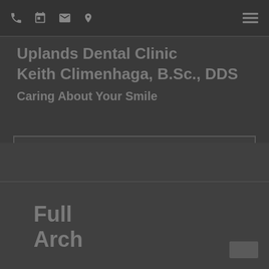Navigation icons: phone, calendar, mail, location; hamburger menu
Uplands Dental Clinic
Keith Climenhaga, B.Sc., DDS
Caring About Your Smile
[Figure (photo): Photo placeholder box — dark rectangular area with border]
Full Arch